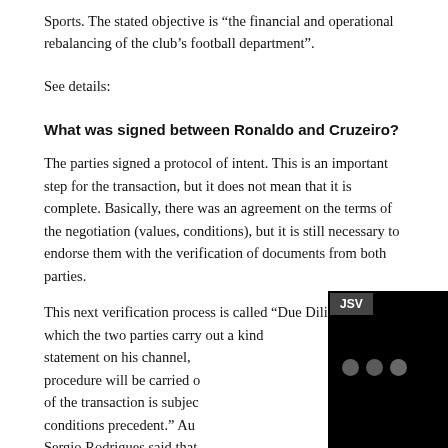Sports. The stated objective is “the financial and operational rebalancing of the club’s football department”.
See details:
What was signed between Ronaldo and Cruzeiro?
The parties signed a protocol of intent. This is an important step for the transaction, but it does not mean that it is complete. Basically, there was an agreement on the terms of the negotiation (values, conditions), but it is still necessary to endorse them with the verification of documents from both parties.
This next verification process is called “Due Diligence” in which the two parties carry out a kind statement on his channel, procedure will be carried o of the transaction is subjec conditions precedent.” Au Sergio Rodrigues said that proposal in early December.
[Figure (screenshot): Black video player overlay with JSV label and three gray dots loading indicator, with a green button on the right edge and an X close button in the upper right.]